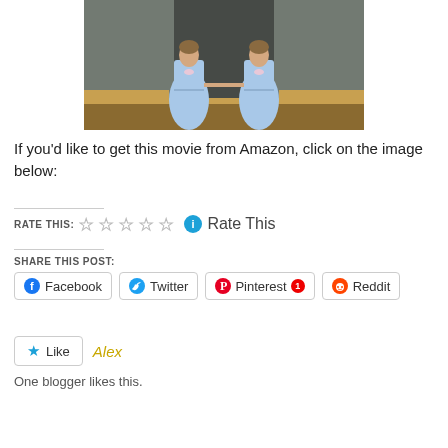[Figure (photo): Two girls in matching light blue dresses standing in a hallway, reminiscent of The Shining movie scene]
If you'd like to get this movie from Amazon, click on the image below:
RATE THIS: ☆☆☆☆☆ ℹ Rate This
SHARE THIS POST:
Facebook  Twitter  Pinterest 1  Reddit
★ Like  Alex
One blogger likes this.